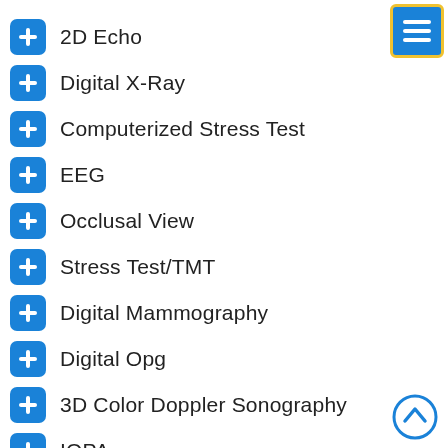2D Echo
Digital X-Ray
Computerized Stress Test
EEG
Occlusal View
Stress Test/TMT
Digital Mammography
Digital Opg
3D Color Doppler Sonography
IOPA
MRI scan
Preventive Health Checkup
Vet Division